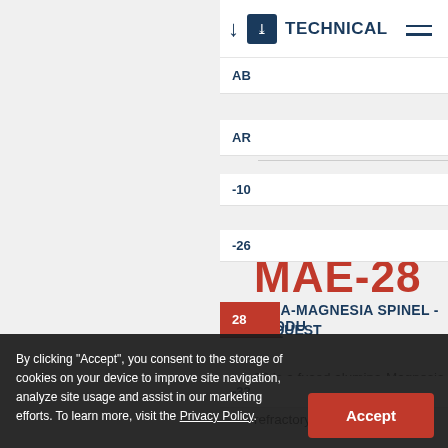DOWNLOAD / TECHNICAL DATA SH
AB
AR
-10
MAE-28
-26
MINA-MAGNESIA SPINEL - PRODU
REQUEST
28
28 is a fused alumina-Magnesia spi... the fusion of alumina and magnesia... ice. It presents high chemical. MAE-... mmended for refractory applications
-32
UB
Y XRF
(%)
By clicking "Accept", you consent to the storage of cookies on your device to improve site navigation, analyze site usage and assist in our marketing efforts. To learn more, visit the Privacy Policy.
| Al2O3 | MgO | Fe2O3 | Na2O |
| --- | --- | --- | --- |
| 71,42 | 27,43 | 0,16 | 0,14 | 0,51 |